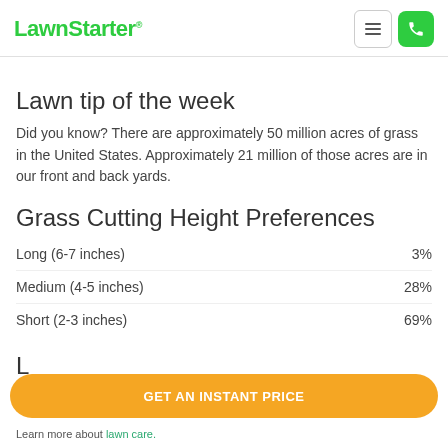LawnStarter
Lawn tip of the week
Did you know? There are approximately 50 million acres of grass in the United States. Approximately 21 million of those acres are in our front and back yards.
Grass Cutting Height Preferences
Long (6-7 inches)  3%
Medium (4-5 inches)  28%
Short (2-3 inches)  69%
GET AN INSTANT PRICE
Learn more about lawn care.